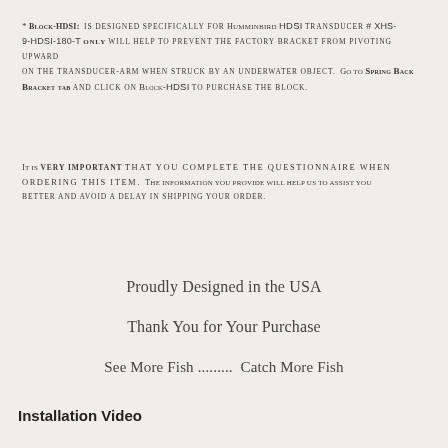* Block-HDSI: is designed specifically for Humminbird HDSI transducer # XHS-9-HDSI-180-T only will help to prevent the factory bracket from pivoting upward on the transducer-arm when struck by an underwater object. Go to Spring Back Bracket tab and click on Block-HDSI to purchase the block.
It is very important THAT YOU COMPLETE THE QUESTIONNAIRE WHEN ORDERING THIS ITEM. The information you provide will help us to assist you better and avoid a delay in shipping your order.
Proudly Designed in the USA
Thank You for Your Purchase
See More Fish .........  Catch More Fish
Installation Video